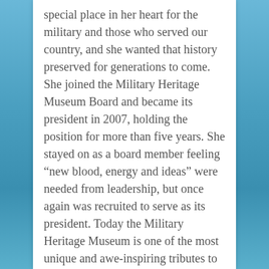special place in her heart for the military and those who served our country, and she wanted that history preserved for generations to come. She joined the Military Heritage Museum Board and became its president in 2007, holding the position for more than five years. She stayed on as a board member feeling “new blood, energy and ideas” were needed from leadership, but once again was recruited to serve as its president. Today the Military Heritage Museum is one of the most unique and awe-inspiring tributes to those who played such an essential role in preserving our country’s rich history.
Like many small towns throughout our country, there is a special bond and gratitude you feel when someone serves and when someone and their...